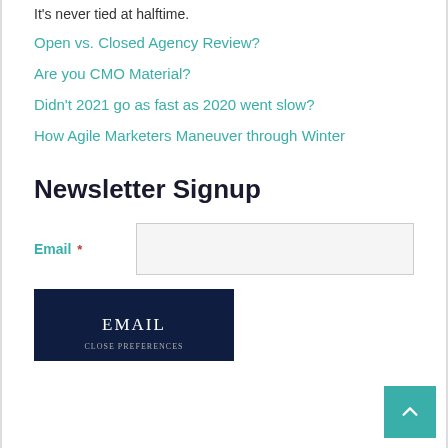It's never tied at halftime.
Open vs. Closed Agency Review?
Are you CMO Material?
Didn't 2021 go as fast as 2020 went slow?
How Agile Marketers Maneuver through Winter
Newsletter Signup
Email *
EMAIL